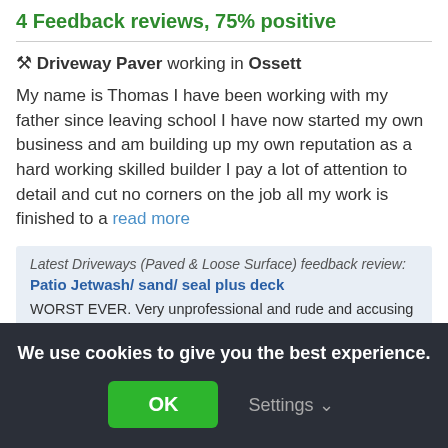4 Feedback reviews, 75% positive
🔨 Driveway Paver working in Ossett
My name is Thomas I have been working with my father since leaving school I have now started my own business and am building up my own reputation as a hard working skilled builder I pay a lot of attention to detail and cut no corners on the job all my work is finished to a read more
Latest Driveways (Paved & Loose Surface) feedback review: Patio Jetwash/ sand/ seal plus deck
WORST EVER. Very unprofessional and rude and accusing tradesperson. We agreed on things to do, i
We use cookies to give you the best experience.